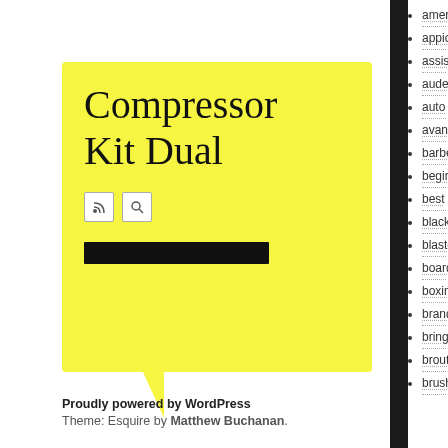[Figure (screenshot): Yellow speech bubble card with the title 'Compressor Kit Dual', RSS and search icons, and a black bar below them on a yellow background with a speech bubble tail at the bottom.]
Compressor Kit Dual
Proudly powered by WordPress
Theme: Esquire by Matthew Buchanan.
ameri...
appio...
assist...
audew...
auto
avanti...
barber...
beginn...
best
black
blaste...
board
boxing...
brand
bringi...
broute...
brush